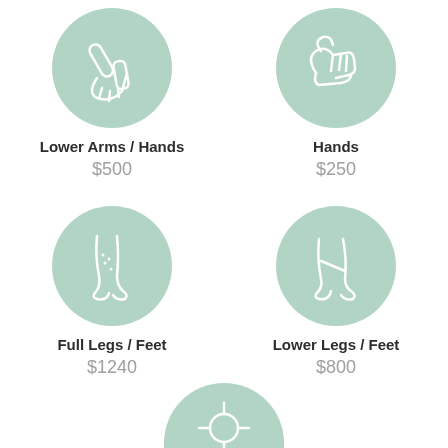[Figure (illustration): Circular icon with mint green background showing lower arms and hands outline illustration]
Lower Arms / Hands
$500
[Figure (illustration): Circular icon with mint green background showing hands outline illustration]
Hands
$250
[Figure (illustration): Circular icon with mint green background showing full legs and feet outline illustration]
Full Legs / Feet
$1240
[Figure (illustration): Circular icon with mint green background showing lower legs and feet outline illustration]
Lower Legs / Feet
$800
[Figure (illustration): Partial circular icon with mint green background showing a crosshair/target icon, partially cut off at bottom]